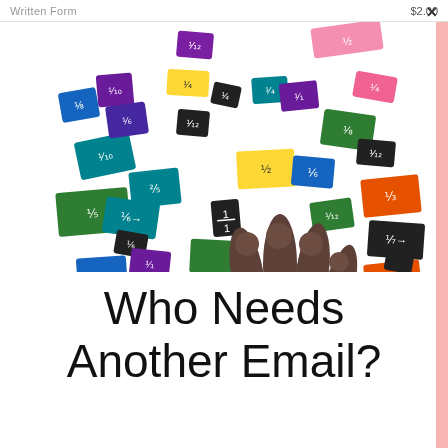Written Form    $2.00
[Figure (photo): A child's hand holding a small black fraction card among many colorful fraction tiles scattered on a white background. The cards are in various colors (blue, green, purple, teal, orange, black, yellow, pink) and show various fractions including 1/2, 1/3, 1/4, 1/6, 1/8, 1/10, 1/12.]
Who Needs Another Email?